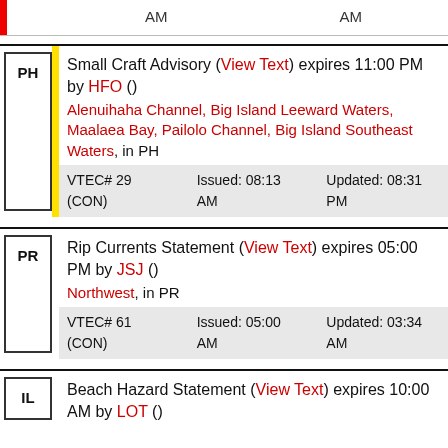|  |  | AM | AM |
| --- | --- | --- | --- |
Small Craft Advisory (View Text) expires 11:00 PM by HFO () Alenuihaha Channel, Big Island Leeward Waters, Maalaea Bay, Pailolo Channel, Big Island Southeast Waters, in PH VTEC# 29 (CON) Issued: 08:13 AM Updated: 08:31 PM
Rip Currents Statement (View Text) expires 05:00 PM by JSJ () Northwest, in PR VTEC# 61 (CON) Issued: 05:00 AM Updated: 03:34 AM
Beach Hazard Statement (View Text) expires 10:00 AM by LOT ()